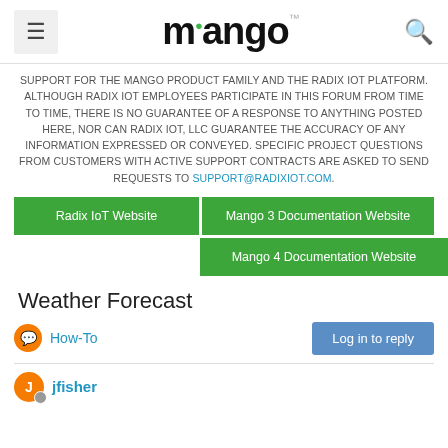mango (logo with hamburger menu and search icon)
SUPPORT FOR THE MANGO PRODUCT FAMILY AND THE RADIX IOT PLATFORM. ALTHOUGH RADIX IOT EMPLOYEES PARTICIPATE IN THIS FORUM FROM TIME TO TIME, THERE IS NO GUARANTEE OF A RESPONSE TO ANYTHING POSTED HERE, NOR CAN RADIX IOT, LLC GUARANTEE THE ACCURACY OF ANY INFORMATION EXPRESSED OR CONVEYED. SPECIFIC PROJECT QUESTIONS FROM CUSTOMERS WITH ACTIVE SUPPORT CONTRACTS ARE ASKED TO SEND REQUESTS TO SUPPORT@RADIXIOT.COM.
[Figure (screenshot): Three green buttons: 'Radix IoT Website', 'Mango 3 Documentation Website', 'Mango 4 Documentation Website']
Weather Forecast
How-To
Log in to reply
jfisher